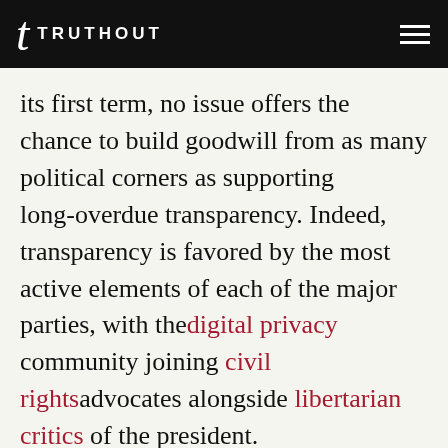TRUTHOUT
its first term, no issue offers the chance to build goodwill from as many political corners as supporting long-overdue transparency. Indeed, transparency is favored by the most active elements of each of the major parties, with the digital privacy community joining civil rights advocates alongside libertarian critics of the president.
Advancing transparency would not only gain the enthusiastic support of observers from across the political spectrum, it would also ensure